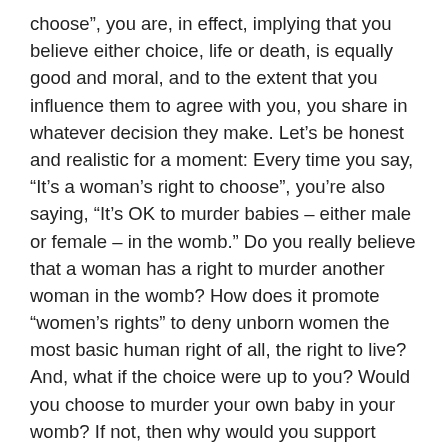choose”, you are, in effect, implying that you believe either choice, life or death, is equally good and moral, and to the extent that you influence them to agree with you, you share in whatever decision they make. Let’s be honest and realistic for a moment: Every time you say, “It’s a woman’s right to choose”, you’re also saying, “It’s OK to murder babies – either male or female – in the womb.” Do you really believe that a woman has a right to murder another woman in the womb? How does it promote “women’s rights” to deny unborn women the most basic human right of all, the right to live? And, what if the choice were up to you? Would you choose to murder your own baby in your womb? If not, then why would you support someone else choosing to do it? The only way you can avoid a shared responsibility in a decision to abort is to take a stand against abortion, i.e., to be “pro-life.” Does the Bible have